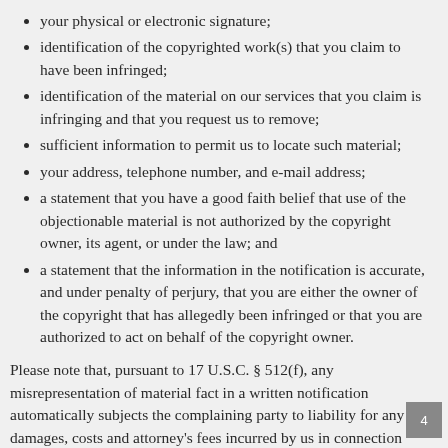your physical or electronic signature;
identification of the copyrighted work(s) that you claim to have been infringed;
identification of the material on our services that you claim is infringing and that you request us to remove;
sufficient information to permit us to locate such material;
your address, telephone number, and e-mail address;
a statement that you have a good faith belief that use of the objectionable material is not authorized by the copyright owner, its agent, or under the law; and
a statement that the information in the notification is accurate, and under penalty of perjury, that you are either the owner of the copyright that has allegedly been infringed or that you are authorized to act on behalf of the copyright owner.
Please note that, pursuant to 17 U.S.C. § 512(f), any misrepresentation of material fact in a written notification automatically subjects the complaining party to liability for any damages, costs and attorney's fees incurred by us in connection